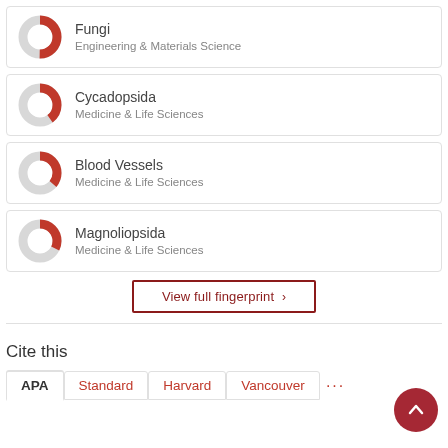[Figure (donut-chart): Donut chart icon for Fungi, Engineering & Materials Science]
Fungi
Engineering & Materials Science
[Figure (donut-chart): Donut chart icon for Cycadopsida, Medicine & Life Sciences]
Cycadopsida
Medicine & Life Sciences
[Figure (donut-chart): Donut chart icon for Blood Vessels, Medicine & Life Sciences]
Blood Vessels
Medicine & Life Sciences
[Figure (donut-chart): Donut chart icon for Magnoliopsida, Medicine & Life Sciences]
Magnoliopsida
Medicine & Life Sciences
View full fingerprint ›
Cite this
APA | Standard | Harvard | Vancouver | ...